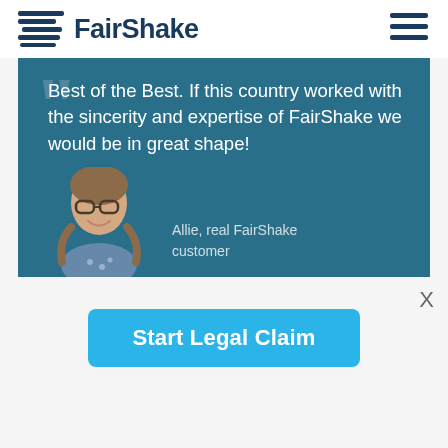FairShake
Best of the Best. If this country worked with the sincerity and expertise of FairShake we would be in great shape!
Allie, real FairShake customer
Start Legal Claim